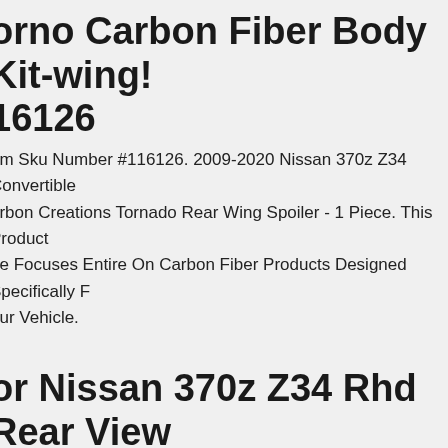Tornado Carbon Fiber Body Kit-wing! 16126
em Sku Number #116126. 2009-2020 Nissan 370z Z34 Convertible arbon Creations Tornado Rear Wing Spoiler - 1 Piece. This Product ne Focuses Entire On Carbon Fiber Products Designed Specifically F our Vehicle.
or Nissan 370z Z34 Rhd Rear View Mirrors Rearview Trim Bodykits Carbon Fiber
arbon Fiber, Surface Glossy Finished, 3k Twill Weave Real Carbon er Material. -matte Carbon Fiber, It Is Matte Finished. Further tion, We Will Try Our Best To Sort Out Any Matter For You. And Full idebody Kits) Will Sent By Ocean.
r 2013-2020 370z Z34 Duraflex Vrs Front Lip Under Spoiler - 1 Piece